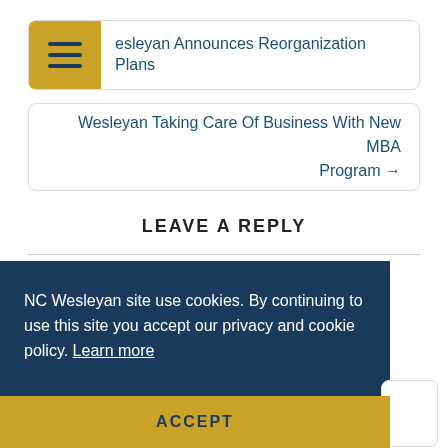Wesleyan Announces Reorganization Plans
Wesleyan Taking Care Of Business With New MBA Program →
LEAVE A REPLY
NC Wesleyan site use cookies. By continuing to use this site you accept our privacy and cookie policy. Learn more
ACCEPT